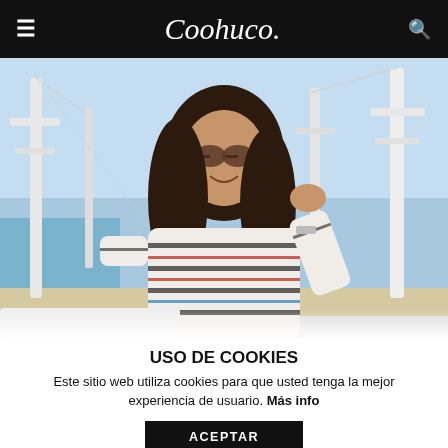≡  Coohuco  🔍
[Figure (photo): A young woman with long dark hair and sunglasses, wearing a striped knit sweater, standing in front of a marina with white sailboat masts and a blue sky background.]
USO DE COOKIES
Este sitio web utiliza cookies para que usted tenga la mejor experiencia de usuario. Más info
ACEPTAR